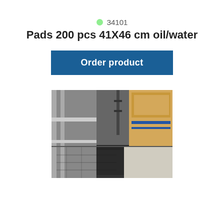34101
Pads 200 pcs 41X46 cm oil/water
Order product
[Figure (photo): A warehouse floor with dark absorbent pads laid out. A metal rack/shelf is visible on the left, and cardboard boxes are stacked on the right. The floor appears to be concrete.]
34102